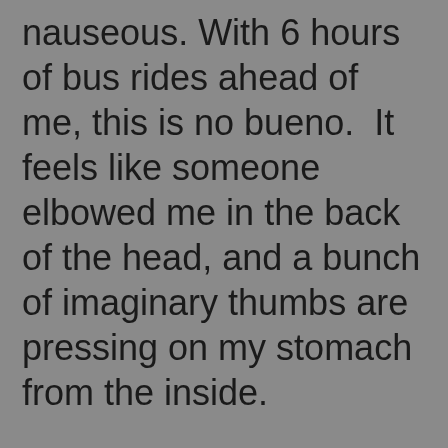nauseous. With 6 hours of bus rides ahead of me, this is no bueno.  It feels like someone elbowed me in the back of the head, and a bunch of imaginary thumbs are pressing on my stomach from the inside.
Getting out of bed is almost impossible.
A stomach bug was going around towards the end of the Camino and